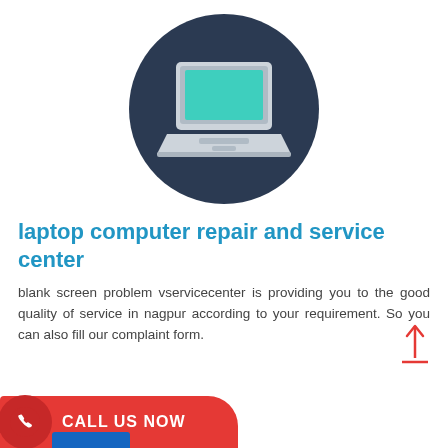[Figure (illustration): Flat icon of a laptop computer with teal/green screen on a dark navy blue circle background]
laptop computer repair and service center
blank screen problem vservicecenter is providing you to the good quality of service in nagpur according to your requirement. So you can also fill our complaint form.
[Figure (other): Scroll-to-top arrow icon in red with a horizontal red baseline line]
[Figure (other): CALL US NOW red button with phone icon circle on the left]